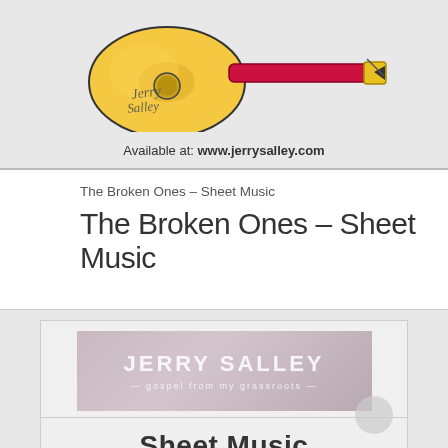[Figure (logo): Jerry Salley logo with a guitar and fountain pen, with cursive signature overlay]
Available at: www.jerrysalley.com
The Broken Ones – Sheet Music
The Broken Ones – Sheet Music
[Figure (logo): Jerry Salley Gospel From My Grassroots banner logo with mauve/rose gradient background]
Sheet Music
From Jerry Salley's Album Gospel From My Grassroots